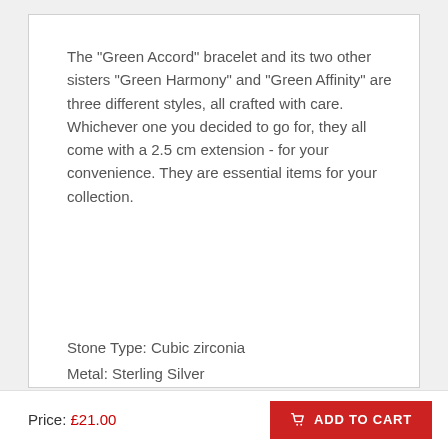The "Green Accord" bracelet and its two other sisters "Green Harmony" and "Green Affinity" are three different styles, all crafted with care. Whichever one you decided to go for, they all come with a 2.5 cm extension - for your convenience. They are essential items for your collection.
Stone Type: Cubic zirconia
Metal: Sterling Silver
Dimensions
Weight (g): 2.4    Width (mm): 7   Height (mm): 7
Chain Length (cm): 16.5 + 2.5 Extension
Price: £21.00
ADD TO CART